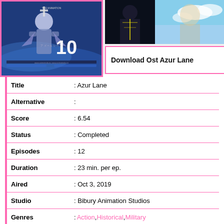[Figure (illustration): Anime cover art for Azur Lane with character in mech armor and number 10, pink border]
[Figure (illustration): Anime screenshot showing character against blue sky background]
Download Ost Azur Lane
| Field | Value |
| --- | --- |
| Title | : Azur Lane |
| Alternative | : |
| Score | : 6.54 |
| Status | : Completed |
| Episodes | : 12 |
| Duration | : 23 min. per ep. |
| Aired | : Oct 3, 2019 |
| Studio | : Bibury Animation Studios |
| Genres | : Action, Historical, Military |
Synopsis